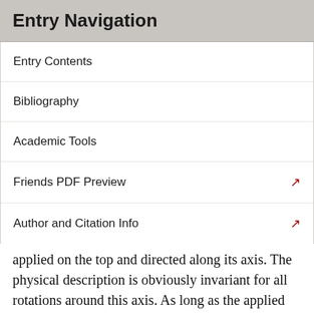Entry Navigation
Entry Contents
Bibliography
Academic Tools
Friends PDF Preview
Author and Citation Info
applied on the top and directed along its axis. The physical description is obviously invariant for all rotations around this axis. As long as the applied force is mild enough, the stick does not bend and the equilibrium configuration (the lowest energy configuration) is invariant under this symmetry. When the force reaches a critical value, the symmetric equilibrium configuration becomes unstable and an infinite number of equivalent lowest energy stable states appear, which are no longer rotationally symmetric but are related to each other by a rotation. The actual breaking of the symmetry may then